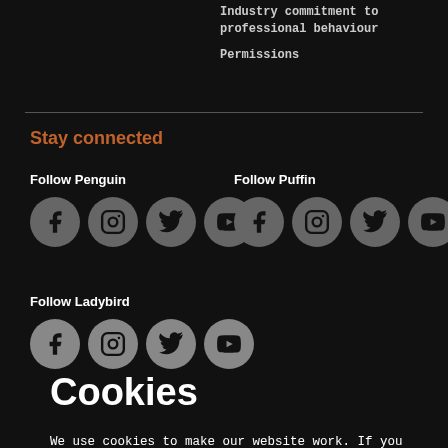Industry commitment to professional behaviour
Permissions
Stay connected
Follow Penguin
[Figure (illustration): Four social media icons (Facebook, Instagram, Twitter, YouTube) for Follow Penguin]
Follow Puffin
[Figure (illustration): Four social media icons (Facebook, Instagram, Twitter, YouTube) for Follow Puffin]
Follow Ladybird
[Figure (illustration): Four social media icons (partially visible) for Follow Ladybird]
Cookies
We use cookies to make our website work. If you click 'Accept All' we will use cookies to understand how you use our services and to show you personalised advertising and other content. You can change your cookie settings by clicking 'Manage Cookies'. For more information please see our cookie policy